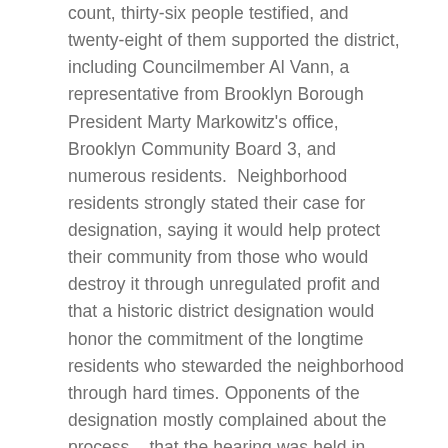count, thirty-six people testified, and twenty-eight of them supported the district, including Councilmember Al Vann, a representative from Brooklyn Borough President Marty Markowitz's office, Brooklyn Community Board 3, and numerous residents.  Neighborhood residents strongly stated their case for designation, saying it would help protect their community from those who would destroy it through unregulated profit and that a historic district designation would honor the commitment of the longtime residents who stewarded the neighborhood through hard times. Opponents of the designation mostly complained about the process – that the hearing was held in Manhattan during business hours rather than in the